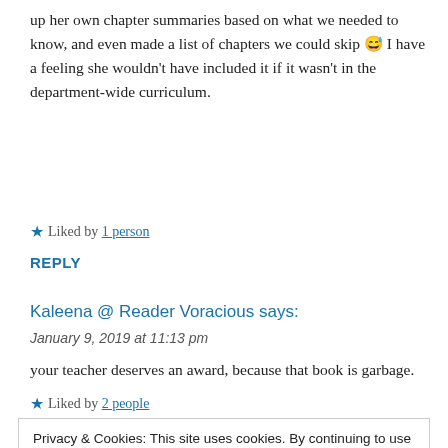up her own chapter summaries based on what we needed to know, and even made a list of chapters we could skip 😅 I have a feeling she wouldn't have included it if it wasn't in the department-wide curriculum.
★ Liked by 1 person
REPLY
Kaleena @ Reader Voracious says:
January 9, 2019 at 11:13 pm
your teacher deserves an award, because that book is garbage.
★ Liked by 2 people
Privacy & Cookies: This site uses cookies. By continuing to use this website, you agree to their use. To find out more, including how to control cookies, see here: Cookie Policy
Close and accept